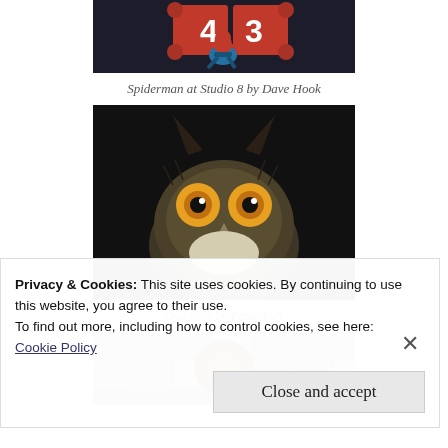[Figure (photo): Spiderman costume figure crouching on top of a building with large numbered signs, photo by Dave Hook]
Spiderman at Studio 8 by Dave Hook
[Figure (photo): Close-up portrait of an owl with piercing yellow eyes against a dark background, photo by Peter Loft]
Owl eyes by Peter Loft
[Figure (photo): Symmetrical abstract image on cobblestone surface, partially visible]
Privacy & Cookies: This site uses cookies. By continuing to use this website, you agree to their use.
To find out more, including how to control cookies, see here:
Cookie Policy
Close and accept